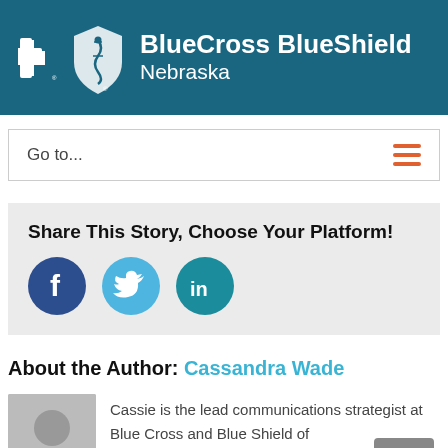BlueCross BlueShield Nebraska
Go to...
Share This Story, Choose Your Platform!
[Figure (infographic): Social sharing icons: Facebook (dark blue circle with 'f'), Twitter (light blue circle with bird), LinkedIn (teal circle with 'in')]
About the Author: Cassandra Wade
[Figure (photo): Generic grey avatar silhouette placeholder image]
Cassie is the lead communications strategist at Blue Cross and Blue Shield of